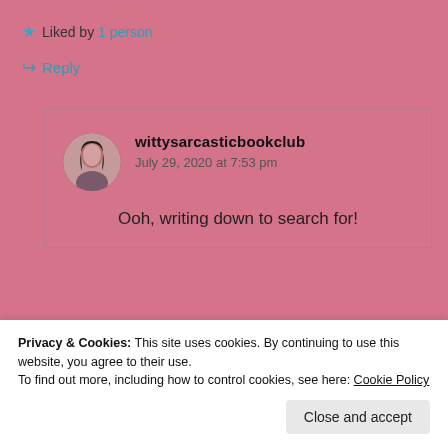Liked by 1 person
Reply
wittysarcasticbookclub
July 29, 2020 at 7:53 pm
[Figure (photo): Circular avatar photo of a woman with dark hair]
Ooh, writing down to search for!
Privacy & Cookies: This site uses cookies. By continuing to use this website, you agree to their use.
To find out more, including how to control cookies, see here: Cookie Policy
Close and accept